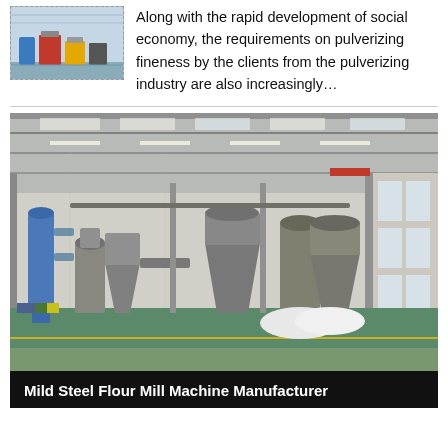[Figure (photo): Thumbnail photo of industrial pulverizing/milling machine equipment in a factory, with yellow and blue machinery visible]
Along with the rapid development of social economy, the requirements on pulverizing fineness by the clients from the pulverizing industry are also increasingly…
[Figure (photo): Large interior photo of an industrial factory floor with milling/grinding machinery, high ceiling with skylights and fluorescent lights, green epoxy floor, gray equipment including cyclones, hoppers, conveyors]
Mild Steel Flour Mill Machine Manufacturer